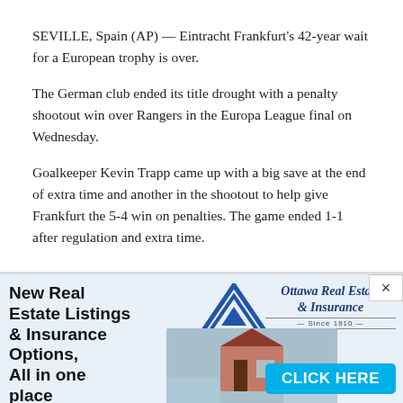SEVILLE, Spain (AP) — Eintracht Frankfurt's 42-year wait for a European trophy is over.
The German club ended its title drought with a penalty shootout win over Rangers in the Europa League final on Wednesday.
Goalkeeper Kevin Trapp came up with a big save at the end of extra time and another in the shootout to help give Frankfurt the 5-4 win on penalties. The game ended 1-1 after regulation and extra time.
[Figure (infographic): Advertisement banner for Ottawa Real Estate & Insurance featuring bold text 'New Real Estate Listings & Insurance Options, All in one place', a triangular house logo, the Ottawa Real Estate & Insurance Since 1910 brand name in italic blue, a photo of a house model being held, and a blue CLICK HERE button.]